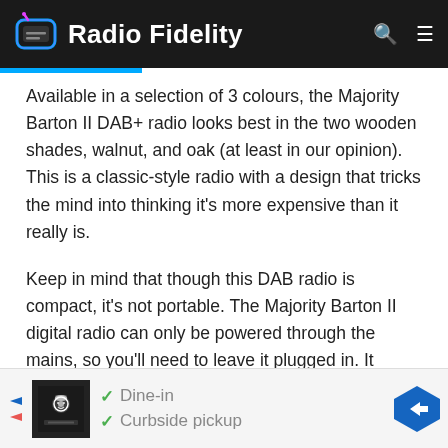Radio Fidelity
Available in a selection of 3 colours, the Majority Barton II DAB+ radio looks best in the two wooden shades, walnut, and oak (at least in our opinion). This is a classic-style radio with a design that tricks the mind into thinking it's more expensive than it really is.
Keep in mind that though this DAB radio is compact, it's not portable. The Majority Barton II digital radio can only be powered through the mains, so you'll need to leave it plugged in. It would have been nice to have a portability element, but this wasn't a deal breaker for us.
[Figure (infographic): Advertisement banner with restaurant icon, checkmarks for Dine-in and Curbside pickup, and a navigation arrow icon]